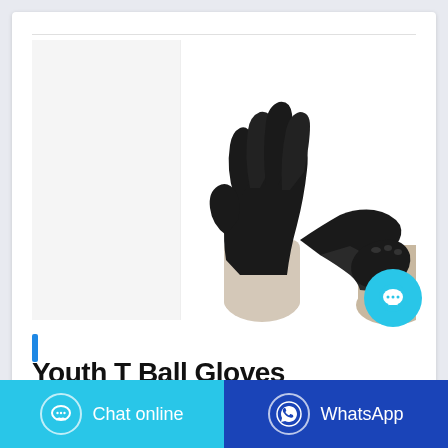[Figure (photo): Product photo of black nitrile/latex gloves being stretched/put on by two hands against a white background. Left side has a white placeholder thumbnail area.]
Youth T Ball Gloves
Chat online
WhatsApp